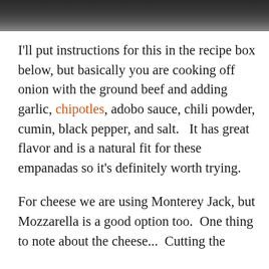[Figure (photo): Dark photo strip at the top of the page, showing the edge of a cooking pan or food item]
I'll put instructions for this in the recipe box below, but basically you are cooking off onion with the ground beef and adding garlic, chipotles, adobo sauce, chili powder, cumin, black pepper, and salt.   It has great flavor and is a natural fit for these empanadas so it's definitely worth trying.
For cheese we are using Monterey Jack, but Mozzarella is a good option too.  One thing to note about the cheese...  Cutting the